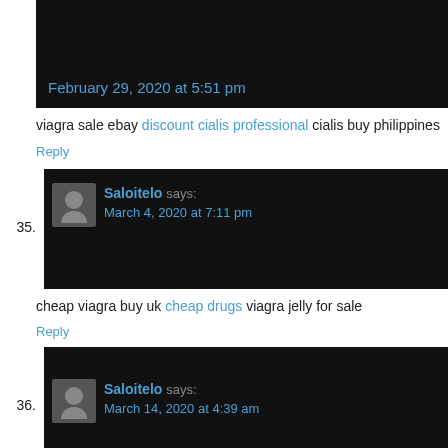[Figure (screenshot): Top comment snippet showing date February 29, 2020 at 5:51 pm on dark background]
viagra sale ebay discount cialis professional cialis buy philippines
Reply
[Figure (screenshot): Comment 35 by Saloitelo, March 4, 2020 at 7:11 pm on dark background with avatar]
cheap viagra buy uk cheap drugs viagra jelly for sale
Reply
[Figure (screenshot): Comment 36 by Saloitelo, March 14, 2020 at 4:39 am on dark background with avatar]